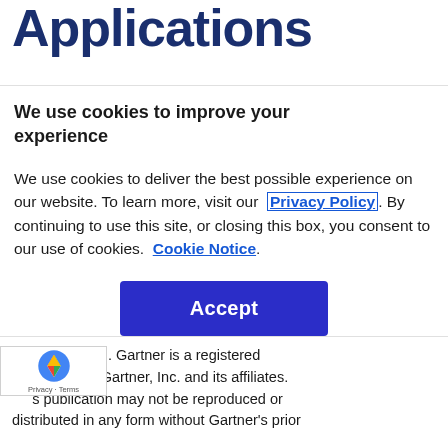Applications
We use cookies to improve your experience
We use cookies to deliver the best possible experience on our website. To learn more, visit our  Privacy Policy . By continuing to use this site, or closing this box, you consent to our use of cookies.  Cookie Notice .
Accept
rights reserved. Gartner is a registered trademark of Gartner, Inc. and its affiliates. s publication may not be reproduced or distributed in any form without Gartner's prior